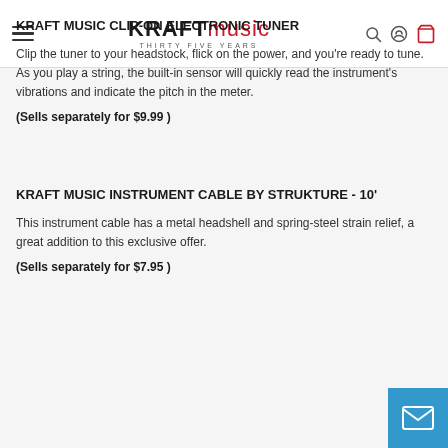KRAFT music THIRTY FIVE YEARS
KRAFT MUSIC CLIP-ON ELECTRONIC TUNER
Clip the tuner to your headstock, flick on the power, and you're ready to tune. As you play a string, the built-in sensor will quickly read the instrument's vibrations and indicate the pitch in the meter.
(Sells separately for $9.99 )
KRAFT MUSIC INSTRUMENT CABLE BY STRUKTURE - 10'
This instrument cable has a metal headshell and spring-steel strain relief, a great addition to this exclusive offer.
(Sells separately for $7.95 )